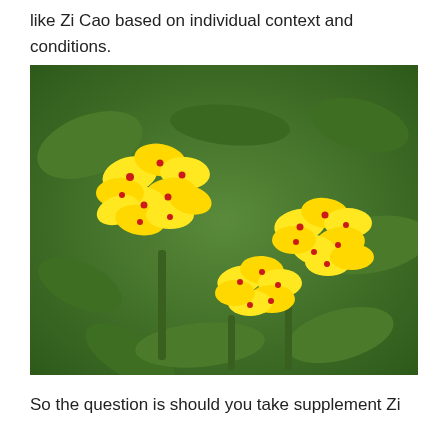like Zi Cao based on individual context and conditions.
[Figure (photo): Close-up photograph of yellow flowers with red center spots growing on green leafy plants, resembling Zi Cao (Lithospermum) herb.]
So the question is should you take supplement Zi